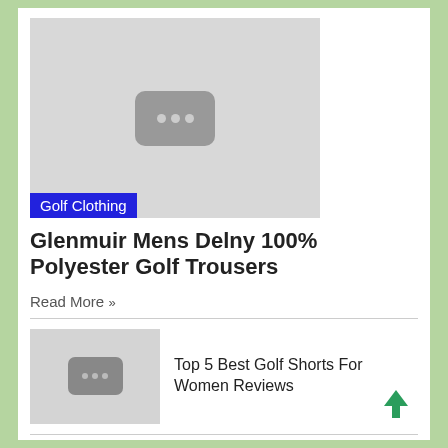[Figure (photo): Gray placeholder thumbnail with three dots icon and a blue 'Golf Clothing' label badge at the bottom left]
Glenmuir Mens Delny 100% Polyester Golf Trousers
Read More »
[Figure (photo): Small gray placeholder thumbnail with three dots icon]
Top 5 Best Golf Shorts For Women Reviews
[Figure (screenshot): Black and white Vevo music video thumbnail showing a dark street scene with 'vevo' text]
Earl Sweatshirt – Chum (Explicit)